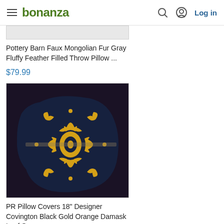bonanza | Log in
Pottery Barn Faux Mongolian Fur Gray Fluffy Feather Filled Throw Pillow ...
$79.99
[Figure (photo): Two decorative throw pillows with black and gold/yellow baroque damask leaf pattern]
PR Pillow Covers 18" Designer Covington Black Gold Orange Damask Leaf Sc...
$59.99